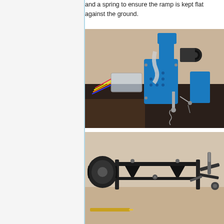and a spring to ensure the ramp is kept flat against the ground.
[Figure (photo): Close-up photograph of a blue 3D-printed RC car chassis component with a camera mount, servo mechanism, ribbon cable, and colorful wiring. The blue bracket assembly is mounted on a dark foam/carpet surface with visible screws and mechanical linkages.]
[Figure (photo): Photograph of the underside/rear of a RC car chassis showing black carbon fiber frame components, wheel, suspension parts, and mechanical hardware on a light background.]